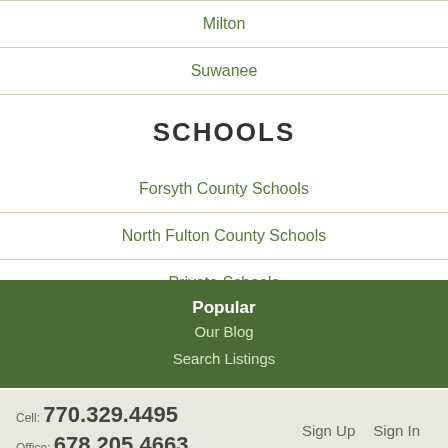Milton
Suwanee
SCHOOLS
Forsyth County Schools
North Fulton County Schools
Private Schools
Popular
Our Blog
Search Listings
Cell: 770.329.4495
Office: 678.205.4663
Sign Up   Sign In